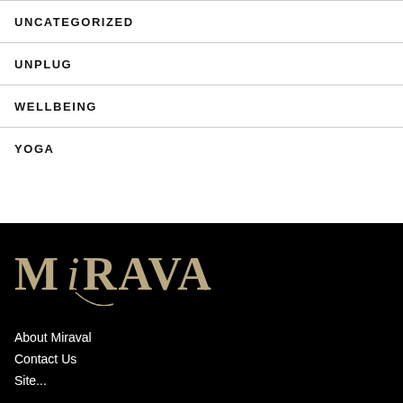UNCATEGORIZED
UNPLUG
WELLBEING
YOGA
[Figure (logo): Miraval logo in gold/tan color on black background]
About Miraval
Contact Us
Sitemap